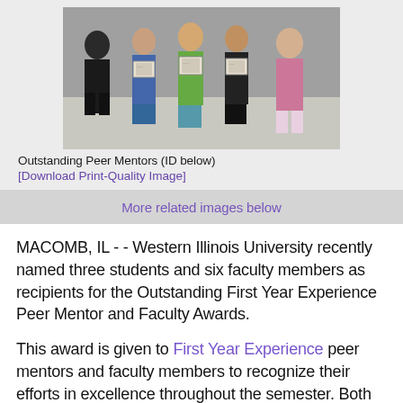[Figure (photo): Group photo of Outstanding Peer Mentors holding framed certificates, posing together in a room]
Outstanding Peer Mentors (ID below)
[Download Print-Quality Image]
More related images below
MACOMB, IL - - Western Illinois University recently named three students and six faculty members as recipients for the Outstanding First Year Experience Peer Mentor and Faculty Awards.
This award is given to First Year Experience peer mentors and faculty members to recognize their efforts in excellence throughout the semester. Both peer mentors and faculty are expected to use creative and